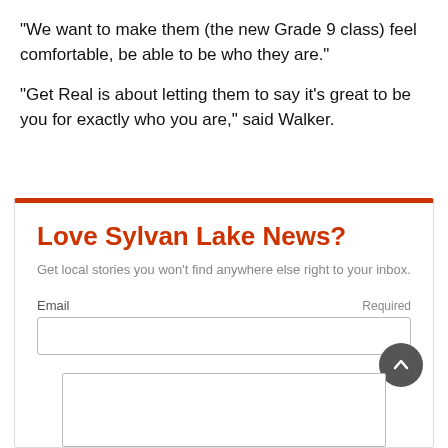“We want to make them (the new Grade 9 class) feel comfortable, be able to be who they are.”
“Get Real is about letting them to say it’s great to be you for exactly who you are,” said Walker.
Love Sylvan Lake News?
Get local stories you won’t find anywhere else right to your inbox.
Email  Required